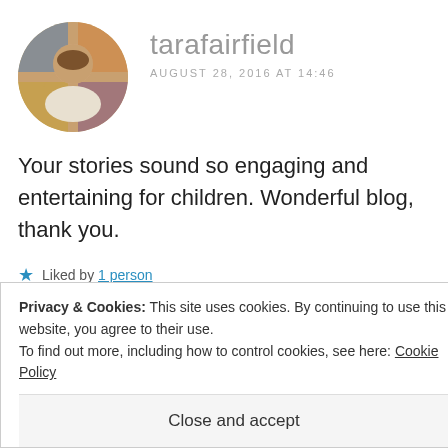[Figure (photo): Circular avatar photo of tarafairfield, a woman in colorful surroundings]
tarafairfield
AUGUST 28, 2016 AT 14:46
Your stories sound so engaging and entertaining for children. Wonderful blog, thank you.
★ Liked by 1 person
REPLY
[Figure (photo): Partial circular avatar of marethabotha2013]
marethabotha2013
Privacy & Cookies: This site uses cookies. By continuing to use this website, you agree to their use.
To find out more, including how to control cookies, see here: Cookie Policy
Close and accept